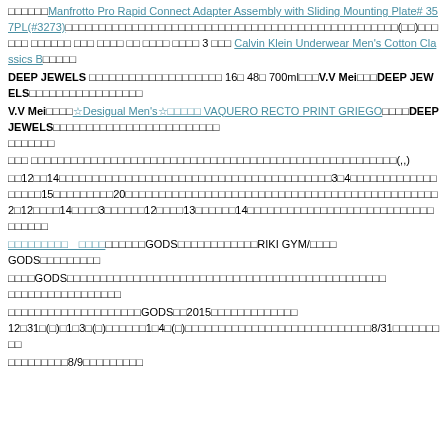□□□□□□Manfrotto Pro Rapid Connect Adapter Assembly with Sliding Mounting Plate# 357PL(#3273)□□□□□□□□□□□□□□□□□□□□□□□□□□□□□□□□□□□□□□□□□□□□□□□□□□(□□)□□□□□□ □□□□□□ □□□ □□□□ □□ □□□□ □□□□ 3 □□□ Calvin Klein Underwear Men's Cotton Classics B□□□□□
DEEP JEWELS □□□□□□□□□□□□□□□□□□□□ 16□ 48□ 700ml□□□V.V Mei□□□DEEP JEWELS□□□□□□□□□□□□□□□□□
V.V Mei□□□□☆Desigual Men's☆□□□□□ VAQUERO RECTO PRINT GRIEGO□□□□DEEP JEWELS□□□□□□□□□□□□□□□□□□□□□□□□□
□□□ □□□□□□□□□□□□□□□□□□□□□□□□□□□□□□□□□□□□□□□□□□□□□□□□□□□□□□□(,,)
□□12□□14□□□□□□□□□□□□□□□□□□□□□□□□□□□□□□□□□□□□□□□□□3□4□□□□□□□□□□□□□□□□□□15□□□□□□□□□20□□□□□□□□□□□□□□□□□□□□□□□□□□□□□□□□□□□□□□□□□□□□□□□2□12□□□□14□□□□3□□□□□□12□□□□13□□□□□□14□□□□□□□□□□□□□□□□□□□□□□□□□□□□□□□□□□
□□□□□□□□□　□□□□□□□□GODS□□□□□□□□□□□□RIKI GYM/□□□□GODS□□□□□□□□□
□□□□GODS□□□□□□□□□□□□□□□□□□□□□□□□□□□□□□□□□□□□□□□□□□□□□□□□
□□□□□□□□□□□□□□□□□□□□GODS□□2015□□□□□□□□□□□□□
12□31□(□)□1□3□(□)□□□□□□1□4□(□)□□□□□□□□□□□□□□□□□□□□□□□□□□□□8/31□□□□□□□□□
□□□□□□□□□8/9□□□□□□□□□